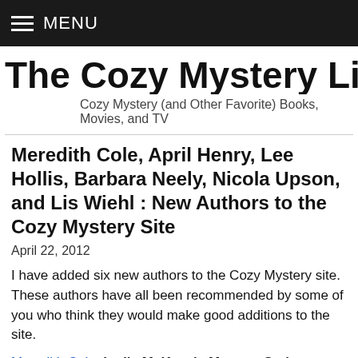MENU
The Cozy Mystery List Blog
Cozy Mystery (and Other Favorite) Books, Movies, and TV
Meredith Cole, April Henry, Lee Hollis, Barbara Neely, Nicola Upson, and Lis Wiehl : New Authors to the Cozy Mystery Site
April 22, 2012
I have added six new authors to the Cozy Mystery site. These authors have all been recommended by some of you who think they would make good additions to the site.
Meredith Cole: Lydia McKenzie Mystery Series
Cole's first book in the Lydia McKenzie Mystery Series was